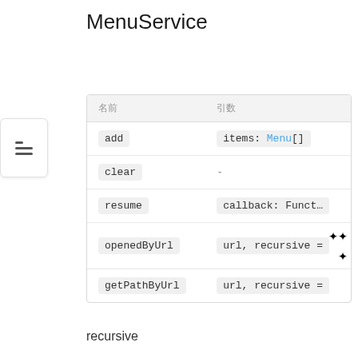MenuService
| 名前 | 引数 |
| --- | --- |
| add | items: Menu[] |
| clear | - |
| resume | callback: Funct... |
| openedByUrl | url, recursive = |
| getPathByUrl | url, recursive = |
recursive